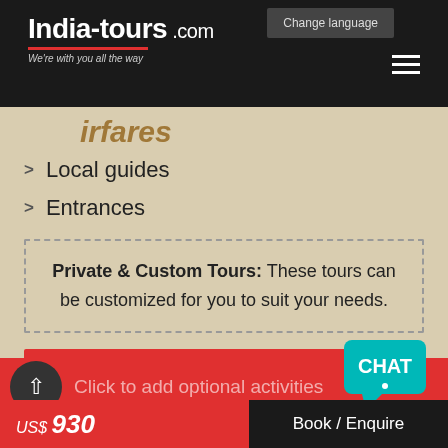India-tours.com — We're with you all the way | Change language
airfares
Local guides
Entrances
Private & Custom Tours: These tours can be customized for you to suit your needs.
BOOK / ENQUIRE
Click to add optional activities
US$ 930 | Book / Enquire